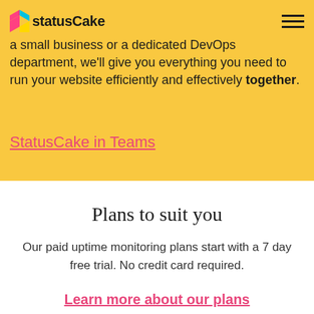StatusCake
a small business or a dedicated DevOps department, we'll give you everything you need to run your website efficiently and effectively together.
StatusCake in Teams
Plans to suit you
Our paid uptime monitoring plans start with a 7 day free trial. No credit card required.
Learn more about our plans